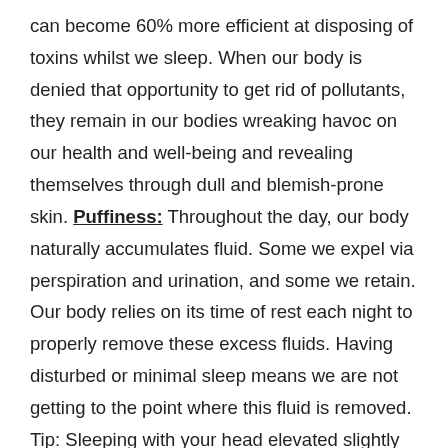can become 60% more efficient at disposing of toxins whilst we sleep. When our body is denied that opportunity to get rid of pollutants, they remain in our bodies wreaking havoc on our health and well-being and revealing themselves through dull and blemish-prone skin. Puffiness: Throughout the day, our body naturally accumulates fluid. Some we expel via perspiration and urination, and some we retain. Our body relies on its time of rest each night to properly remove these excess fluids. Having disturbed or minimal sleep means we are not getting to the point where this fluid is removed. Tip: Sleeping with your head elevated slightly can aid in draining any fluid from the face and eye area. Lack of pH balance: Believe it or not, a lack of sleep can severely affect the skin's pH levels. When pH levels are low, it inhibits our body's moisture levels. This results in a dull, dry and tight feeling skin rather than the healthy, radiant glow that we all want. Furthermore, an imbalance can lead to other skin concerns such as redness and breakouts. This is because our sebaceous glands can try to compensate for the lack of